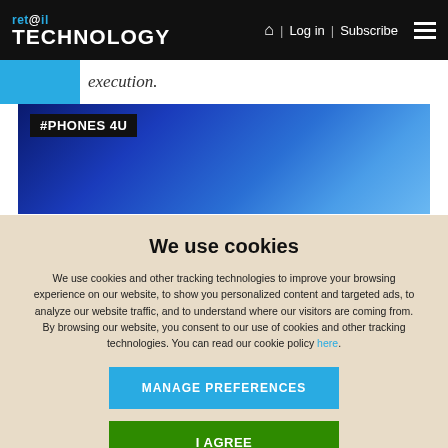ret@il TECHNOLOGY | Log in | Subscribe
execution.
[Figure (screenshot): Blue gradient banner with #PHONES 4U hashtag label in black box]
We use cookies
We use cookies and other tracking technologies to improve your browsing experience on our website, to show you personalized content and targeted ads, to analyze our website traffic, and to understand where our visitors are coming from. By browsing our website, you consent to our use of cookies and other tracking technologies. You can read our cookie policy here.
MANAGE PREFERENCES
I AGREE